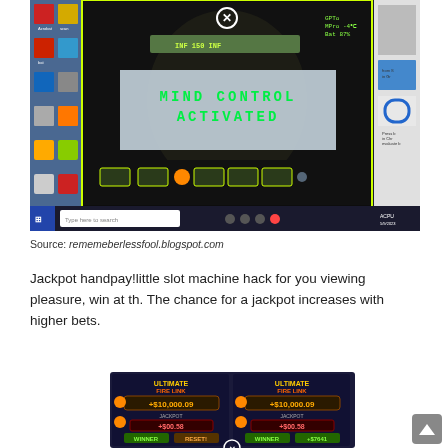[Figure (screenshot): Screenshot of a Windows desktop showing a slot machine game (Mind Control Activated screen) with a bright green-yellow border, desktop icons on the left, and a right-side panel with browser content visible.]
Source: rememeberlessfool.blogspot.com
Jackpot handpay!little slot machine hack for you viewing pleasure, win at th. The chance for a jackpot increases with higher bets.
[Figure (screenshot): Screenshot of Ultimate Fire Link slot machine showing jackpot display with +$10,000.09 and +$00.58 values, shown twice side by side on a dark background display board.]